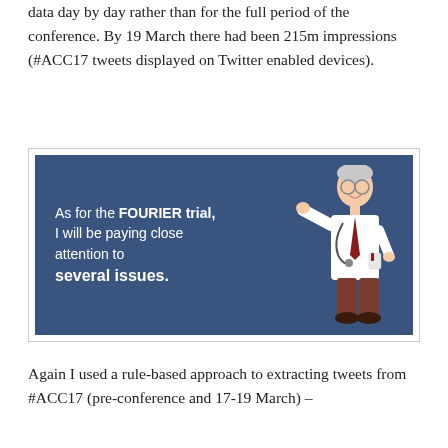data day by day rather than for the full period of the conference. By 19 March there had been 215m impressions (#ACC17 tweets displayed on Twitter enabled devices).
[Figure (illustration): Illustrated image with dark blue background showing a cartoon doctor in a white coat with a stethoscope, pointing. Text reads: 'As for the FOURIER trial, I will be paying close attention to several issues.']
Again I used a rule-based approach to extracting tweets from #ACC17 (pre-conference and 17-19 March) –